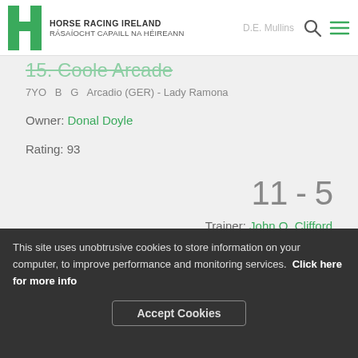Horse Racing Ireland — Rásaíocht Capaill na hÉireann — D.E. Mullins
15. Coole Arcade
7YO  B  G  Arcadio (GER) - Lady Ramona
Owner: Donal Doyle
Rating: 93
11 - 5
Trainer: John O. Clifford
NR
This site uses unobtrusive cookies to store information on your computer, to improve performance and monitoring services. Click here for more info
Accept Cookies